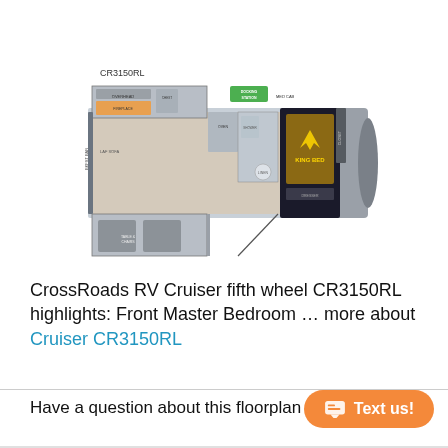CR3150RL
[Figure (schematic): Floorplan of CrossRoads RV Cruiser fifth wheel CR3150RL showing top-down layout with front master bedroom containing king bed, slide-outs, living area with fireplace, kitchen, bathroom, and rear living room with two recliners.]
CrossRoads RV Cruiser fifth wheel CR3150RL highlights: Front Master Bedroom … more about
Cruiser CR3150RL
Have a question about this floorplan